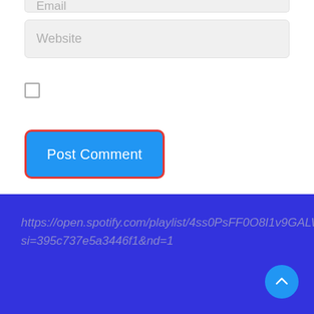[Figure (screenshot): Partial input field at top, partially cut off, showing 'Email' placeholder text in a light gray rounded input box]
[Figure (screenshot): Website input field with gray background and placeholder text 'Website']
[Figure (screenshot): Unchecked checkbox (empty square outline)]
[Figure (screenshot): Blue 'Post Comment' button with red border outline]
https://open.spotify.com/playlist/4ss0PsFF0O8I1v9GALWN8t?si=395c737e5a3446f1&nd=1
[Figure (screenshot): Cyan circular scroll-to-top button with upward chevron arrow]